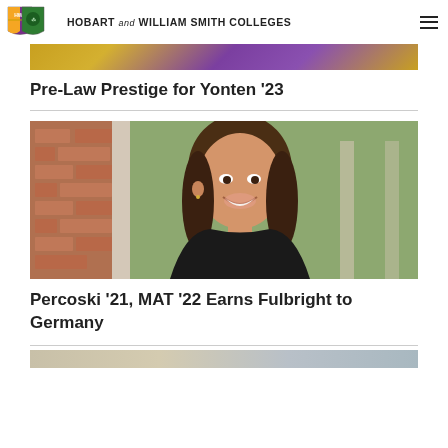HOBART AND WILLIAM SMITH COLLEGES
[Figure (photo): Partial photo of a person in a purple jersey at top of page]
Pre-Law Prestige for Yonten '23
[Figure (photo): Portrait photo of a smiling young woman with brown hair leaning against a brick wall pillar]
Percoski '21, MAT '22 Earns Fulbright to Germany
[Figure (photo): Partial photo at the bottom of the page, partially cut off]